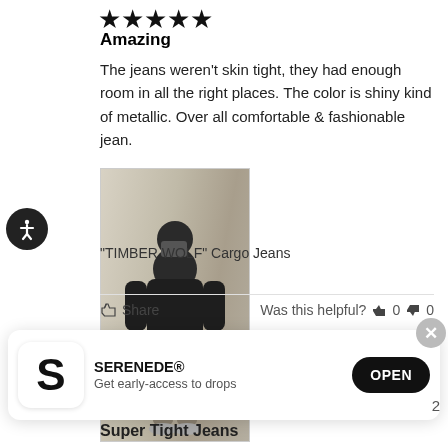[Figure (other): Five black star rating icons at top]
Amazing
The jeans weren't skin tight, they had enough room in all the right places. The color is shiny kind of metallic. Over all comfortable & fashionable jean.
[Figure (photo): Person wearing dark hoodie and cargo pants, taking a mirror selfie in what appears to be a store fitting room]
"TIMBER WOLF" Cargo Jeans
Share    Was this helpful?  👍 0  👎 0
[Figure (other): App install banner for SERENEDE® with S logo, text 'Get early-access to drops', and OPEN button]
Super Tight Jeans